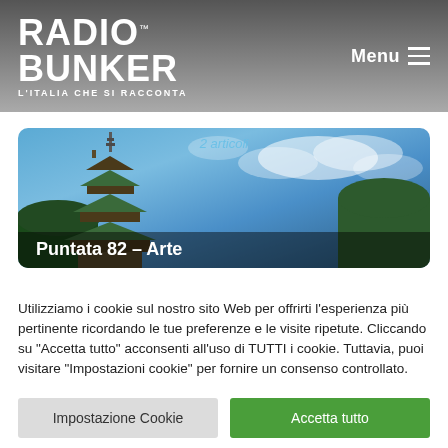RADIO BUNKER™ L'ITALIA CHE SI RACCONTA
[Figure (photo): Pagoda tower against blue sky with clouds, card image for Puntata 82 – Arte. Top partially overlapped by text '2 articoli'.]
Puntata 82 – Arte
Utilizziamo i cookie sul nostro sito Web per offrirti l'esperienza più pertinente ricordando le tue preferenze e le visite ripetute. Cliccando su "Accetta tutto" acconsenti all'uso di TUTTI i cookie. Tuttavia, puoi visitare "Impostazioni cookie" per fornire un consenso controllato.
Impostazione Cookie
Accetta tutto